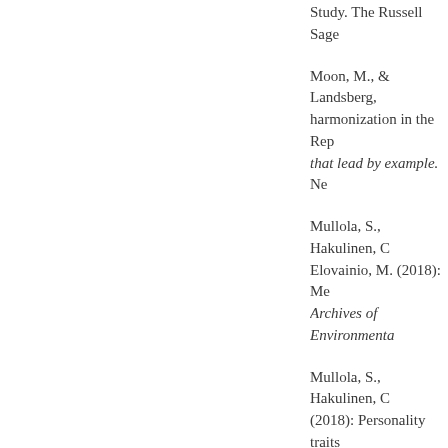Study. The Russell Sage ...
Moon, M., & Landsberg, ... harmonization in the Rep... that lead by example. Ne...
Mullola, S., Hakulinen, C... Elovainio, M. (2018): Me... Archives of Environmenta...
Mullola, S., Hakulinen, C... (2018): Personality traits ... contact, specialty and cha... 1155-9
O'Donnell, K. J., Chen, L... Brooks-Gunn, J., Goldma... De Kaluw, M. S., M...